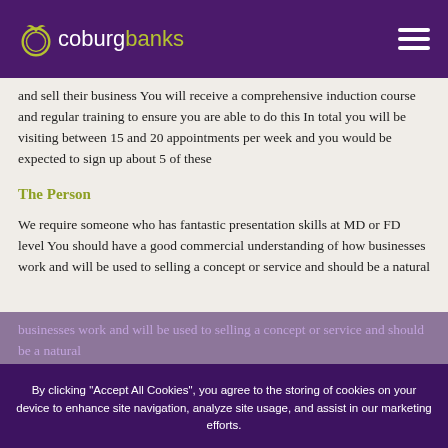coburg banks
and sell their business You will receive a comprehensive induction course and regular training to ensure you are able to do this In total you will be visiting between 15 and 20 appointments per week and you would be expected to sign up about 5 of these
The Person
We require someone who has fantastic presentation skills at MD or FD level You should have a good commercial understanding of how businesses work and will be used to selling a concept or service and should be a natural
By clicking "Accept All Cookies", you agree to the storing of cookies on your device to enhance site navigation, analyze site usage, and assist in our marketing efforts.